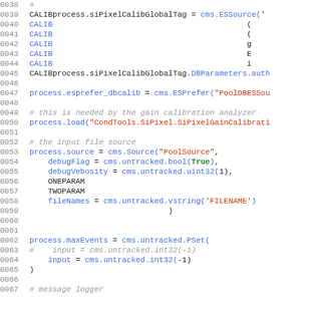[Figure (screenshot): Source code listing showing Python/CMS configuration code, lines 0038-0067, with syntax highlighting: line numbers in gray, keywords and identifiers in blue, red, and green colors on white background.]